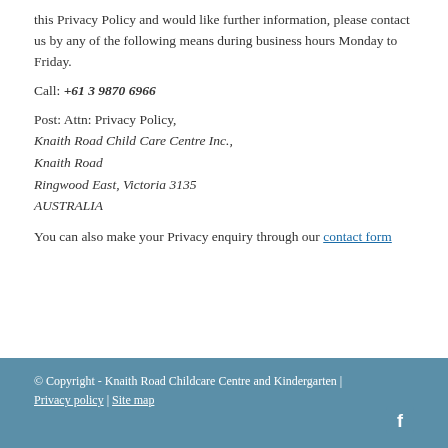this Privacy Policy and would like further information, please contact us by any of the following means during business hours Monday to Friday.
Call: +61 3 9870 6966
Post: Attn: Privacy Policy,
Knaith Road Child Care Centre Inc.,
Knaith Road
Ringwood East, Victoria 3135
AUSTRALIA
You can also make your Privacy enquiry through our contact form
© Copyright - Knaith Road Childcare Centre and Kindergarten | Privacy policy | Site map